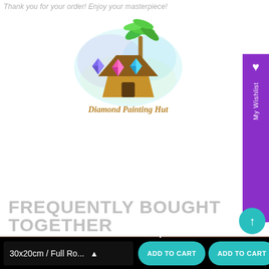Thank you for your order! Enjoy your masterpiece!
[Figure (logo): Diamond Painting Hut logo: colorful diamond gems, a thatched hut, and a palm tree with watercolor splash background. Gold script text reads 'Diamond Painting Hut'.]
FREQUENTLY BOUGHT TOGETHER
[Figure (photo): Product thumbnail image, dark brownish tone, partially visible at bottom left]
[Figure (photo): Second product thumbnail image, dark brownish tone, partially visible at bottom right]
30x20cm / Full Ro...
ADD TO CART
ADD TO CART